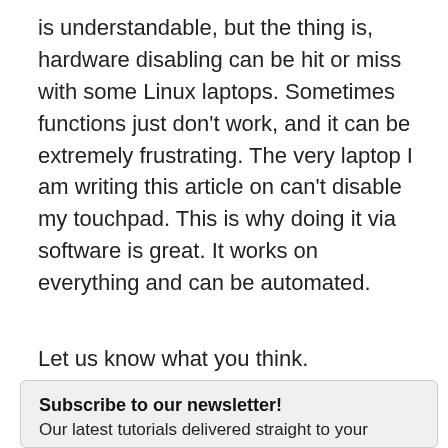is understandable, but the thing is, hardware disabling can be hit or miss with some Linux laptops. Sometimes functions just don't work, and it can be extremely frustrating. The very laptop I am writing this article on can't disable my touchpad. This is why doing it via software is great. It works on everything and can be automated.
Let us know what you think.
Is this article useful? Yes No
Subscribe to our newsletter!
Our latest tutorials delivered straight to your